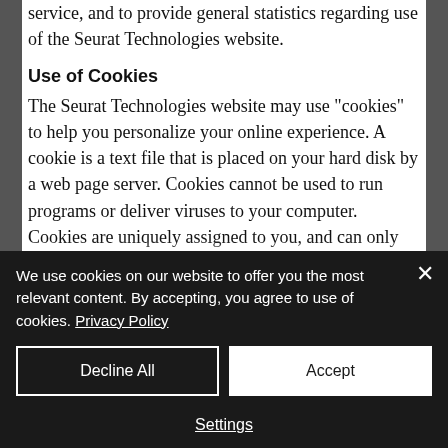service, and to provide general statistics regarding use of the Seurat Technologies website.
Use of Cookies
The Seurat Technologies website may use "cookies" to help you personalize your online experience. A cookie is a text file that is placed on your hard disk by a web page server. Cookies cannot be used to run programs or deliver viruses to your computer. Cookies are uniquely assigned to you, and can only
We use cookies on our website to offer you the most relevant content. By accepting, you agree to use of cookies. Privacy Policy
Decline All
Accept
Settings